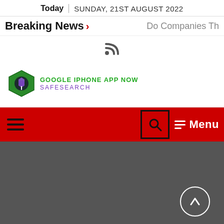Today | SUNDAY, 21ST AUGUST 2022
Breaking News > Do Companies Th
[Figure (other): RSS feed icon]
[Figure (logo): Google iPhone App Now SafeSearch advertisement logo - green hexagon icon with text GOOGLE IPHONE APP NOW SAFESEARCH]
[Figure (screenshot): Red navigation bar with hamburger menu on left, search box and Menu button on right]
[Figure (other): Dark gray section with scroll-to-top circular button in bottom right]